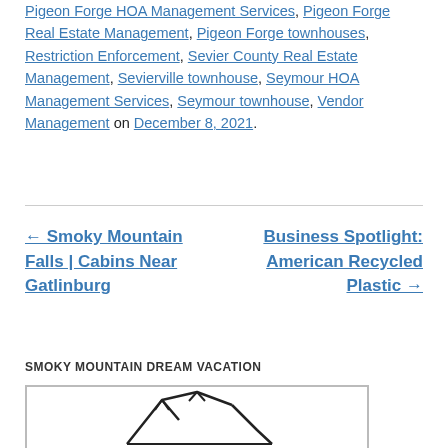Pigeon Forge HOA Management Services, Pigeon Forge Real Estate Management, Pigeon Forge townhouses, Restriction Enforcement, Sevier County Real Estate Management, Sevierville townhouse, Seymour HOA Management Services, Seymour townhouse, Vendor Management on December 8, 2021.
← Smoky Mountain Falls | Cabins Near Gatlinburg
Business Spotlight: American Recycled Plastic →
SMOKY MOUNTAIN DREAM VACATION
[Figure (logo): Mountain range logo with black outline peaks — Smoky Mountain Dream Vacation logo]